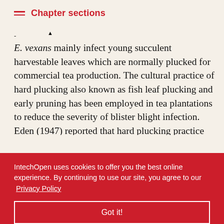Chapter sections
E. vexans mainly infect young succulent harvestable leaves which are normally plucked for commercial tea production. The cultural practice of hard plucking also known as fish leaf plucking and early pruning has been employed in tea plantations to reduce the severity of blister blight infection. Eden (1947) reported that hard plucking practice after every two to three months in a year causes no major damage to the tea bushes. However, the long-term [crop yield as] [susceptible to] [tions after] [r with the] [tea] [y infected tea]
IntechOpen uses cookies to offer you the best online experience. By continuing to use our site, you agree to our Privacy Policy
Got it!